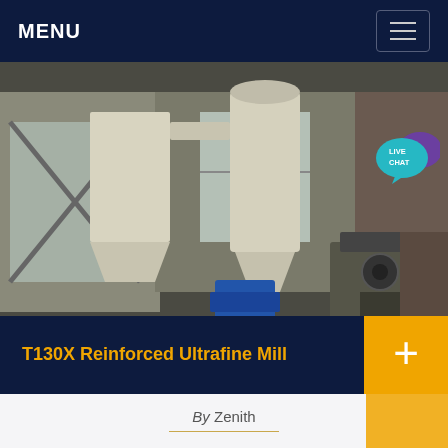MENU
[Figure (photo): Industrial mill equipment in a factory setting, showing large white hoppers, cyclone units, and processing machinery. Date stamp 2010/01/28 visible in lower right of photo.]
T130X Reinforced Ultrafine Mill
By Zenith
istical analysis and a large number of suggestions from users and the innovative design of the super pressure trapezoidal mill. It has superseded and